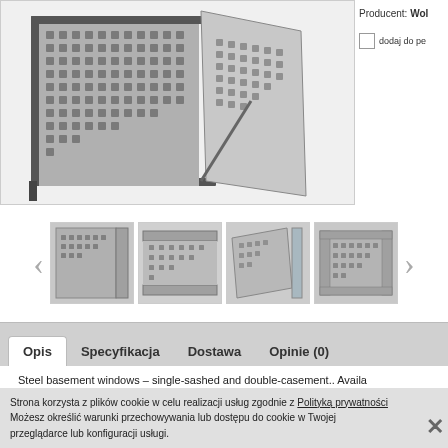[Figure (photo): Steel basement window with perforated/grating panel shown open, metallic construction]
Producent: Wol
dodaj do pe
[Figure (photo): Thumbnail 1: close-up of basement window corner detail]
[Figure (photo): Thumbnail 2: side view of basement window grating]
[Figure (photo): Thumbnail 3: angled view of basement window]
[Figure (photo): Thumbnail 4: front view of basement window with grating]
Opis  Specyfikacja  Dostawa  Opinie (0)
Steel basement windows – single-sashed and double-casement.. Availa
Windows equipped with a protective, opening grating as well as glazed s
Strona korzysta z plików cookie w celu realizacji usług zgodnie z Polityką prywatności
Możesz określić warunki przechowywania lub dostępu do cookie w Twojej przeglądarce lub konfiguracji usługi.